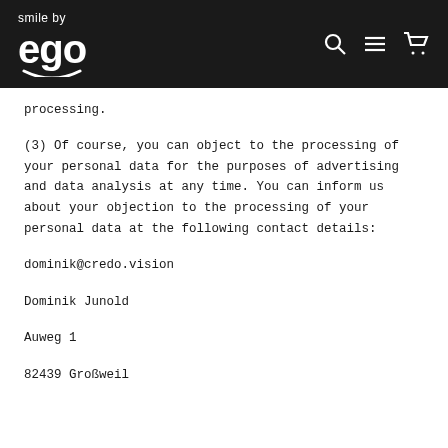smile by ego [navigation: search, menu, cart]
processing.
(3) Of course, you can object to the processing of your personal data for the purposes of advertising and data analysis at any time. You can inform us about your objection to the processing of your personal data at the following contact details:
dominik@credo.vision
Dominik Junold
Auweg 1
82439 Großweil